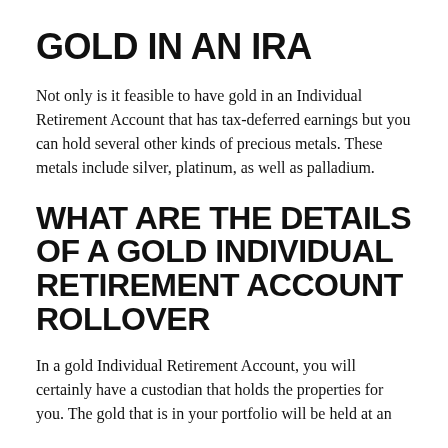GOLD IN AN IRA
Not only is it feasible to have gold in an Individual Retirement Account that has tax-deferred earnings but you can hold several other kinds of precious metals. These metals include silver, platinum, as well as palladium.
WHAT ARE THE DETAILS OF A GOLD INDIVIDUAL RETIREMENT ACCOUNT ROLLOVER
In a gold Individual Retirement Account, you will certainly have a custodian that holds the properties for you. The gold that is in your portfolio will be held at an